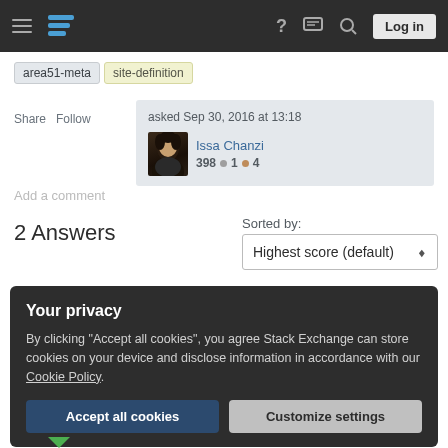Stack Exchange navigation bar with hamburger menu, logo, help, chat, search icons, and Log in button
area51-meta
site-definition
Share  Follow
asked Sep 30, 2016 at 13:18  Issa Chanzi  398 ●1 ●4
Add a comment
2 Answers
Sorted by:
Highest score (default)
Your privacy
By clicking "Accept all cookies", you agree Stack Exchange can store cookies on your device and disclose information in accordance with our Cookie Policy.
Accept all cookies
Customize settings